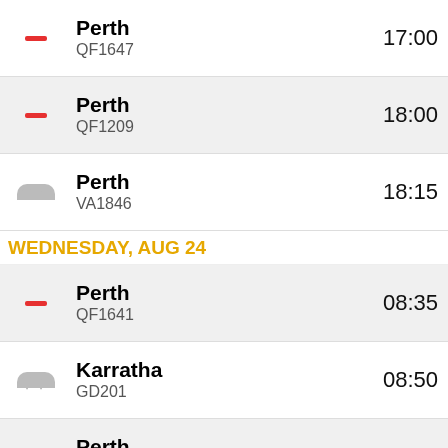Perth QF1647 17:00
Perth QF1209 18:00
Perth VA1846 18:15
WEDNESDAY, AUG 24
Perth QF1641 08:35
Karratha GD201 08:50
Perth VA1840 09:10
Perth QF1207 09:40
Perth